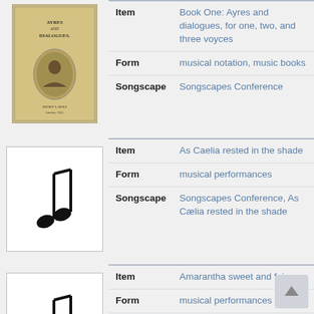[Figure (illustration): Thumbnail of a book cover for 'Ayres and Dialogues']
| Field | Value |
| --- | --- |
| Item | Book One: Ayres and dialogues, for one, two, and three voyces |
| Form | musical notation, music books |
| Songscape | Songscapes Conference |
[Figure (illustration): Musical note icon thumbnail]
| Field | Value |
| --- | --- |
| Item | As Caelia rested in the shade |
| Form | musical performances |
| Songscape | Songscapes Conference, As Cælia rested in the shade |
[Figure (illustration): Musical note icon thumbnail]
| Field | Value |
| --- | --- |
| Item | Amarantha sweet and fair |
| Form | musical performances |
| Songscape | Songscapes Conference, Amarantha sweet & fair |